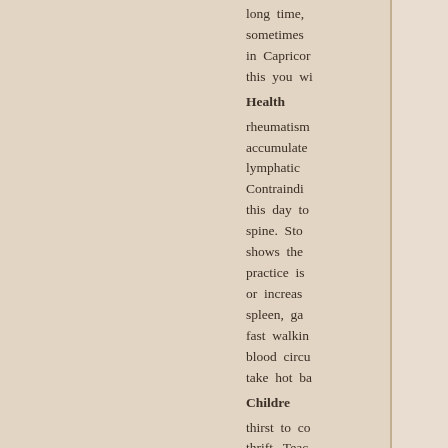[Figure (photo): A partial photograph visible on the left side of the page, showing what appears to be a person or scene, with a beige/tan background covering most of the left portion.]
long time, sometimes in Capricorn this you wi
Health
rheumatism accumulate lymphatic Contraindi this day to spine. Sto shows the practice is or increas spleen, ga fast walkin blood circu take hot ba
Childre
thirst to co thrift. Teac future prof